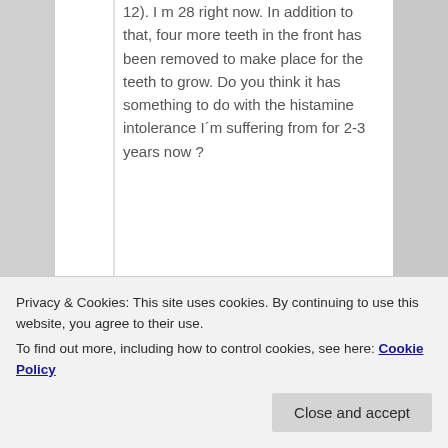12). I m 28 right now. In addition to that, four more teeth in the front has been removed to make place for the teeth to grow. Do you think it has something to do with the histamine intolerance I´m suffering from for 2-3 years now ?
★ Like
Reply ↓
I agree. Also contracted Hep A
Privacy & Cookies: This site uses cookies. By continuing to use this website, you agree to their use.
To find out more, including how to control cookies, see here: Cookie Policy
Close and accept